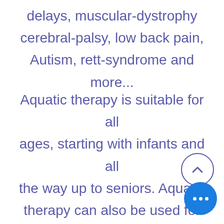delays, muscular-dystrophy cerebral-palsy, low back pain, Autism, rett-syndrome and more...
Aquatic therapy is suitable for all ages, starting with infants and all the way up to seniors. Aquatic therapy can also be used for prenatal care in advanced months of pragnancy.
In addition, people with PTSD, anxiety disorders, depressio other emotional issues can find